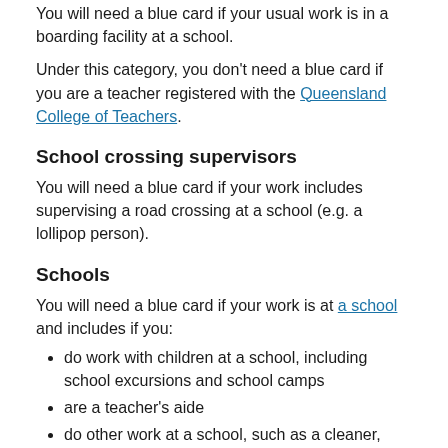You will need a blue card if your usual work is in a boarding facility at a school.
Under this category, you don't need a blue card if you are a teacher registered with the Queensland College of Teachers.
School crossing supervisors
You will need a blue card if your work includes supervising a road crossing at a school (e.g. a lollipop person).
Schools
You will need a blue card if your work is at a school and includes if you:
do work with children at a school, including school excursions and school camps
are a teacher's aide
do other work at a school, such as a cleaner, including employees of the school and of other